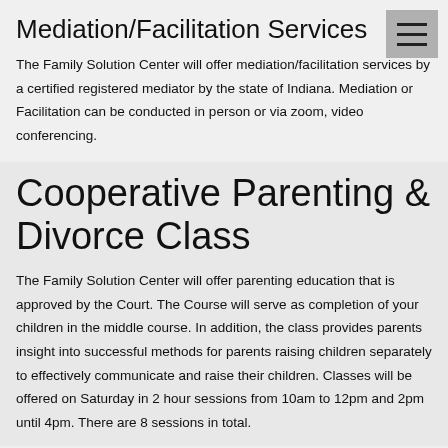Mediation/Facilitation Services
The Family Solution Center will offer mediation/facilitation services by a certified registered mediator by the state of Indiana. Mediation or Facilitation can be conducted in person or via zoom, video conferencing.
Cooperative Parenting & Divorce Class
The Family Solution Center will offer parenting education that is approved by the Court.  The Course will serve as completion of your children in the middle course. In addition, the class provides parents insight into successful methods for parents raising children separately to effectively communicate and raise their children. Classes will be offered on Saturday in 2 hour sessions from 10am to 12pm and 2pm until 4pm.  There are 8 sessions in total.